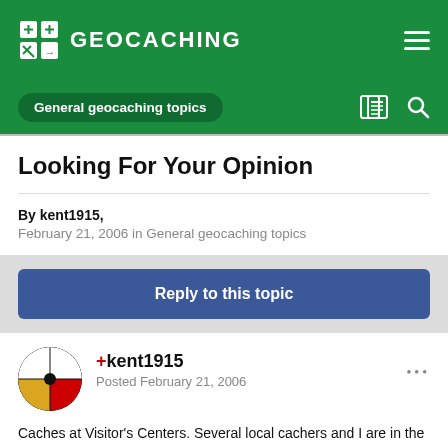GEOCACHING
General geocaching topics
Looking For Your Opinion
By kent1915,
February 21, 2006 in General geocaching topics
Reply to this topic
+kent1915
Posted February 21, 2006
Caches at Visitor's Centers. Several local cachers and I are in the process of putting together an event in the spring with help from our local Tourism and Visitor's Center. Now, I had permission to place a cache at the center